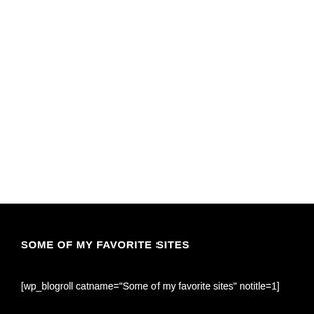SOME OF MY FAVORITE SITES
[wp_blogroll catname="Some of my favorite sites" notitle=1]